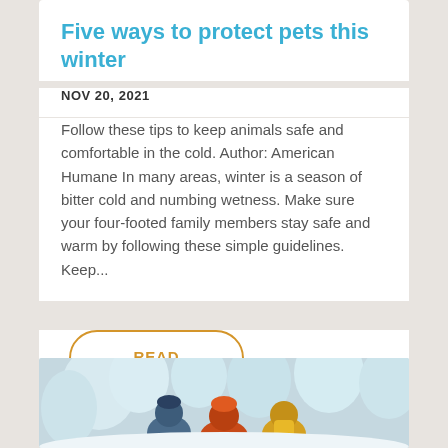Five ways to protect pets this winter
NOV 20, 2021
Follow these tips to keep animals safe and comfortable in the cold. Author: American Humane In many areas, winter is a season of bitter cold and numbing wetness. Make sure your four-footed family members stay safe and warm by following these simple guidelines. Keep...
READ MORE
[Figure (photo): People in winter outdoor clothing, snow-covered trees in background]